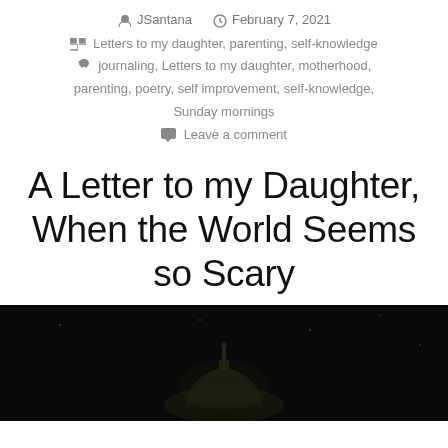JSantana  February 7, 2021
Letters to my daughter, parenting, self-knowledge
journaling, Letters to my daughter, motherhood, parenting, poetry, self improvement, self-knowledge, Sunday mornings
Leave a comment
A Letter to my Daughter, When the World Seems so Scary
[Figure (photo): Dark nighttime photo of a building dome or capitol with a statue on top, against a black sky]